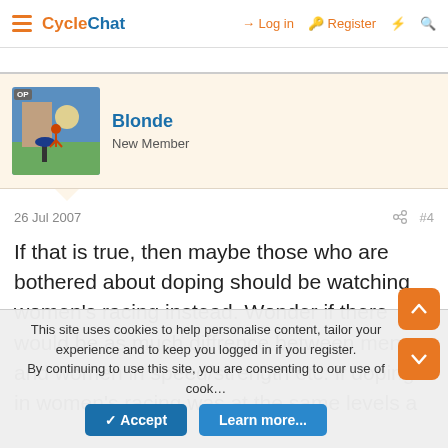CycleChat — Log in  Register
Blonde
New Member
26 Jul 2007  #4
If that is true, then maybe those who are bothered about doping should be watching women's racing instead. Wonder if there would be as much diffrence between men and women in speed/strength etc. if doping in women's racing was at the same levels a…
This site uses cookies to help personalise content, tailor your experience and to keep you logged in if you register.
By continuing to use this site, you are consenting to our use of cookies.